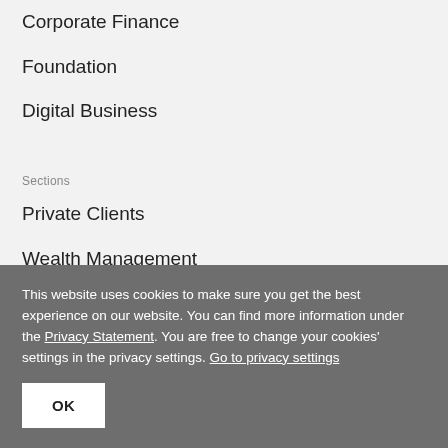Corporate Finance
Foundation
Digital Business
Sections
Private Clients
Wealth Management
Corporate
This website uses cookies to make sure you get the best experience on our website. You can find more information under the Privacy Statement. You are free to change your cookies' settings in the privacy settings. Go to privacy settings
OK